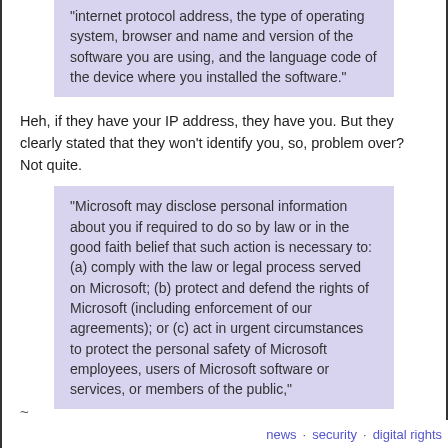"internet protocol address, the type of operating system, browser and name and version of the software you are using, and the language code of the device where you installed the software."
Heh, if they have your IP address, they have you. But they clearly stated that they won't identify you, so, problem over? Not quite.
"Microsoft may disclose personal information about you if required to do so by law or in the good faith belief that such action is necessary to: (a) comply with the law or legal process served on Microsoft; (b) protect and defend the rights of Microsoft (including enforcement of our agreements); or (c) act in urgent circumstances to protect the personal safety of Microsoft employees, users of Microsoft software or services, or members of the public,"
The good faith belief? Microsoft? Come on.
news · security · digital rights